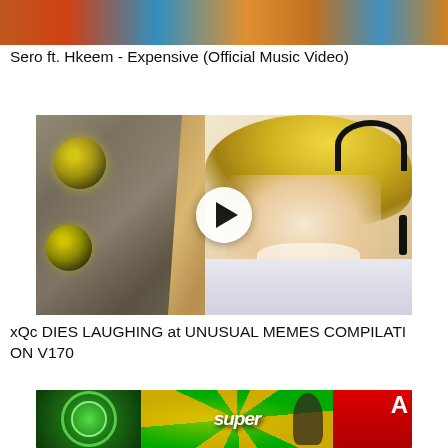[Figure (screenshot): Partial thumbnail image of 'Sero ft. Hkeem - Expensive (Official Music Video)', cropped at top]
Sero ft. Hkeem - Expensive (Official Music Video)
[Figure (screenshot): YouTube video thumbnail for 'xQc DIES LAUGHING at UNUSUAL MEMES COMPILATION V170' showing a closeup of a cat face on the left and xQc (a streamer with blonde hair and headphones) laughing on the right, with a play button overlay in the center]
xQc DIES LAUGHING at UNUSUAL MEMES COMPILATI ON V170
[Figure (screenshot): Partial thumbnail showing Skoda logo on left, 'super' text in center with colorful radial background, a person with umbrella in center-right, and YouTube logo on far right]